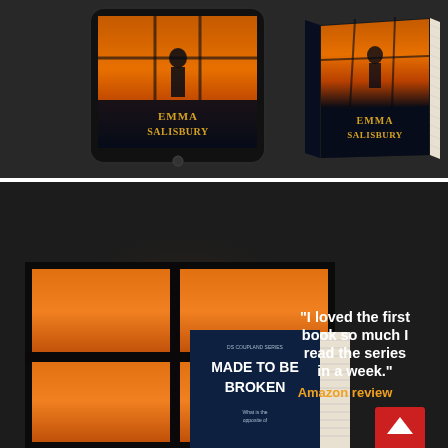[Figure (photo): Book mockup photo showing two versions of a book by Emma Salisbury on a dark textured background. Left shows a tablet/e-reader display and right shows a physical paperback book, both featuring a silhouette cover with orange/sunset tones. Author name 'EMMA SALISBURY' in gold lettering visible on both.]
[Figure (photo): Book promotional image for 'MADE TO BE BROKEN' by Emma Salisbury (DS Coupland series book). Shows a physical book mockup in front of a glowing orange window scene on a dark background. On the right side, a quote reads: '"I loved the first book so much I read the series in a week." Amazon review' with a red scroll-to-top button visible in bottom right corner.]